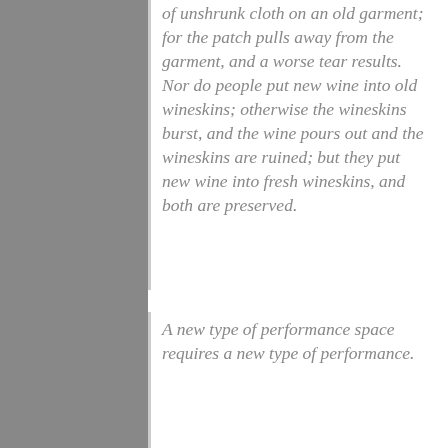of unshrunk cloth on an old garment; for the patch pulls away from the garment, and a worse tear results. Nor do people put new wine into old wineskins; otherwise the wineskins burst, and the wine pours out and the wineskins are ruined; but they put new wine into fresh wineskins, and both are preserved.
A new type of performance space requires a new type of performance.